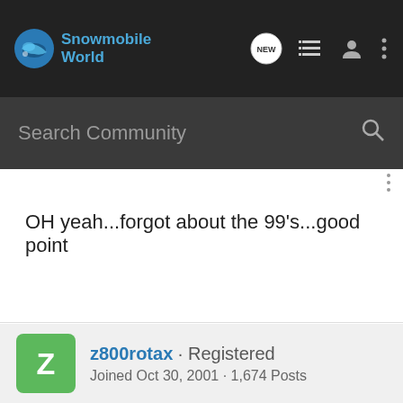Snowmobile World
OH yeah...forgot about the 99's...good point
Yes, that is me in the avatar. #61
z800rotax · Registered
Joined Oct 30, 2001 · 1,674 Posts